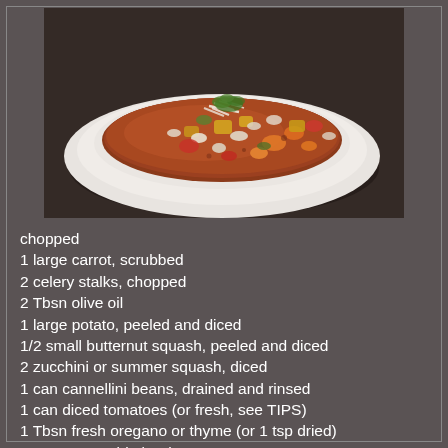[Figure (photo): A white bowl filled with minestrone-style vegetable soup containing carrots, squash, beans, tomatoes in a broth, garnished with shredded parmesan and parsley, served on a woven mat.]
chopped
1 large carrot, scrubbed
2 celery stalks, chopped
2 Tbsn olive oil
1 large potato, peeled and diced
1/2 small butternut squash, peeled and diced
2 zucchini or summer squash, diced
1 can cannellini beans, drained and rinsed
1 can diced tomatoes (or fresh, see TIPS)
1 Tbsn fresh oregano or thyme (or 1 tsp dried)
6 cups vegetable broth
parsley (for garnish) optional
parmesan (for garnish) optional